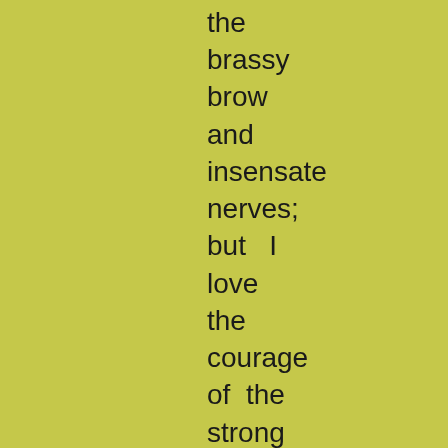the
brassy
brow
and
insensate
nerves;
but   I
love
the
courage
of  the
strong
heart,
the
fervour
of  the
generous
blood;
I loved